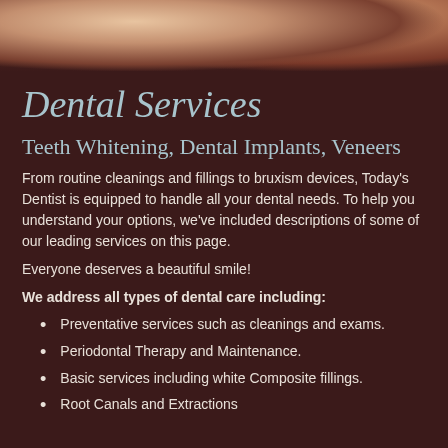[Figure (photo): Banner photo of smiling people at a dental office, showing faces and shoulders, warm tones]
Dental Services
Teeth Whitening, Dental Implants, Veneers
From routine cleanings and fillings to bruxism devices, Today's Dentist is equipped to handle all your dental needs. To help you understand your options, we've included descriptions of some of our leading services on this page.
Everyone deserves a beautiful smile!
We address all types of dental care including:
Preventative services such as cleanings and exams.
Periodontal Therapy and Maintenance.
Basic services including white Composite fillings.
Root Canals and Extractions